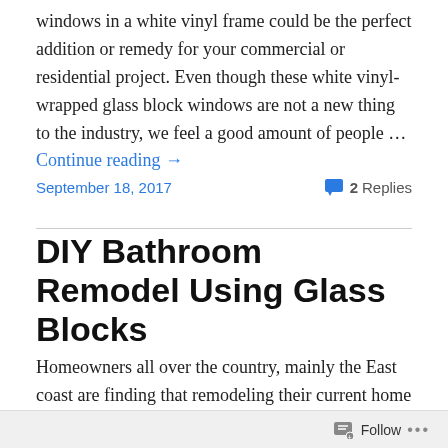windows in a white vinyl frame could be the perfect addition or remedy for your commercial or residential project. Even though these white vinyl-wrapped glass block windows are not a new thing to the industry, we feel a good amount of people … Continue reading →
September 18, 2017    💬 2 Replies
DIY Bathroom Remodel Using Glass Blocks
Homeowners all over the country, mainly the East coast are finding that remodeling their current home is a solid alternative over selling and buying a new home. The bathroom is an excellent room to have a DIY remodeling